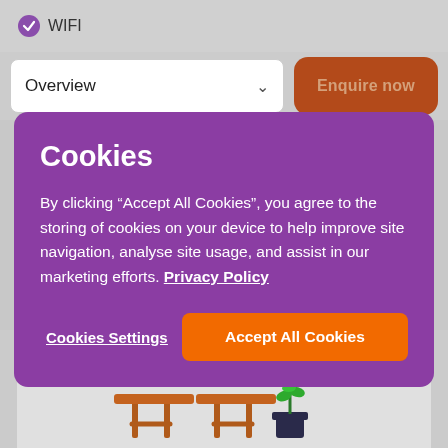WIFI
Overview
Enquire now
Cookies
By clicking “Accept All Cookies”, you agree to the storing of cookies on your device to help improve site navigation, analyse site usage, and assist in our marketing efforts. Privacy Policy
Cookies Settings
Accept All Cookies
[Figure (illustration): Outdoor table with chairs and a potted plant illustration at bottom of page]